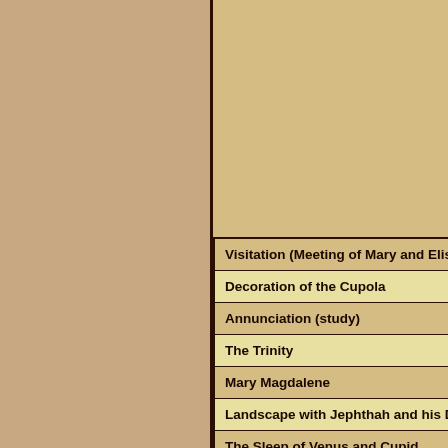| Title |
| --- |
| Visitation (Meeting of Mary and Elis… |
| Decoration of the Cupola |
| Annunciation (study) |
| The Trinity |
| Mary Magdalene |
| Landscape with Jephthah and his D… |
| The Sleep of Venus and Cupid |
| The Raising of the Cross |
| Infante Don Baltazar Carlos |